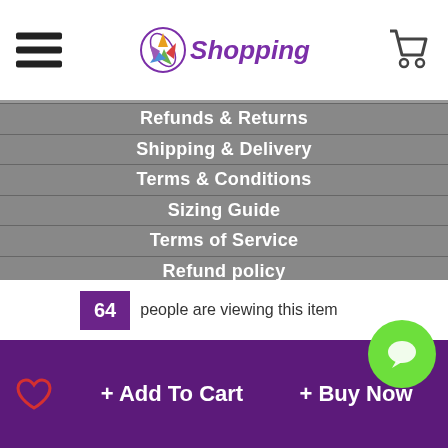Go Shopping - Navigation Header
Refunds & Returns
Shipping & Delivery
Terms & Conditions
Sizing Guide
Terms of Service
Refund policy
64 people are viewing this item
+ Add To Cart
+ Buy Now